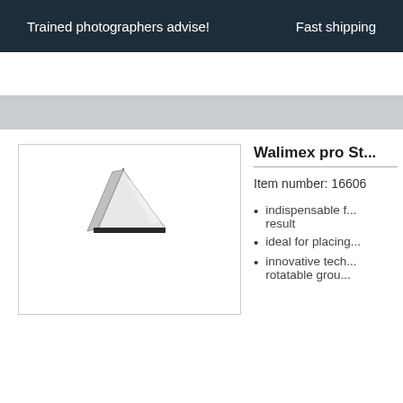Trained photographers advise!    Fast shipping
[Figure (photo): Product image of a Walimex pro studio reflector/diffuser panel, showing a partially folded white rectangular reflector panel with black border]
Walimex pro St...
Item number: 16606
indispensable f... result
ideal for placing...
innovative tech... rotatable grou...